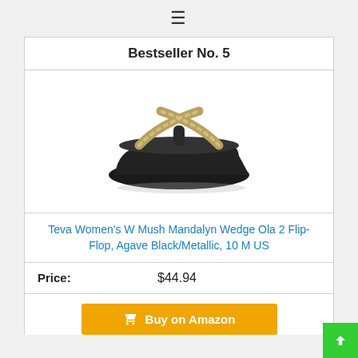≡
Bestseller No. 5
[Figure (photo): Black wedge flip-flop sandal (Teva Women's W Mush Mandalyn Wedge Ola 2) with metallic criss-cross straps, shown on white background]
Teva Women's W Mush Mandalyn Wedge Ola 2 Flip-Flop, Agave Black/Metallic, 10 M US
Price: $44.94
Buy on Amazon